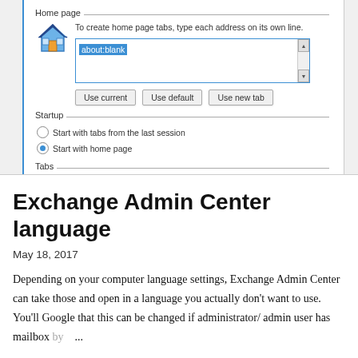[Figure (screenshot): Internet Explorer Internet Options dialog screenshot showing Home page section with about:blank in text box, Use current/Use default/Use new tab buttons, Startup section with radio buttons, and Tabs section header]
Exchange Admin Center language
May 18, 2017
Depending on your computer language settings, Exchange Admin Center can take those and open in a language you actually don't want to use. You'll Google that this can be changed if administrator/ admin user has mailbox by ...